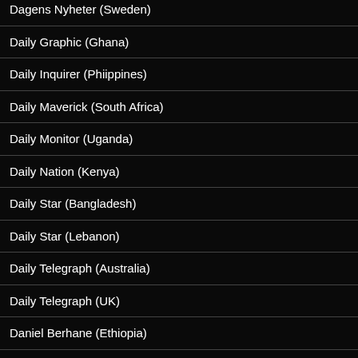Dagens Nyheter (Sweden)
Daily Graphic (Ghana)
Daily Inquirer (Phiippines)
Daily Maverick (South Africa)
Daily Monitor (Uganda)
Daily Nation (Kenya)
Daily Star (Bangladesh)
Daily Star (Lebanon)
Daily Telegraph (Australia)
Daily Telegraph (UK)
Daniel Berhane (Ethiopia)
Daniel Drezner (Foreign Policy)
Dawn (Pakistan)